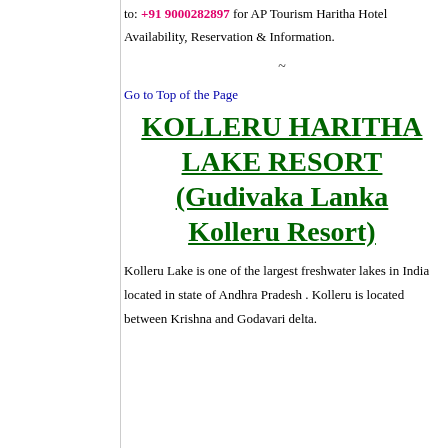to: +91 9000282897 for AP Tourism Haritha Hotel Availability, Reservation & Information.
~
Go to Top of the Page
KOLLERU HARITHA LAKE RESORT (Gudivaka Lanka Kolleru Resort)
Kolleru Lake is one of the largest freshwater lakes in India located in state of Andhra Pradesh . Kolleru is located between Krishna and Godavari delta.